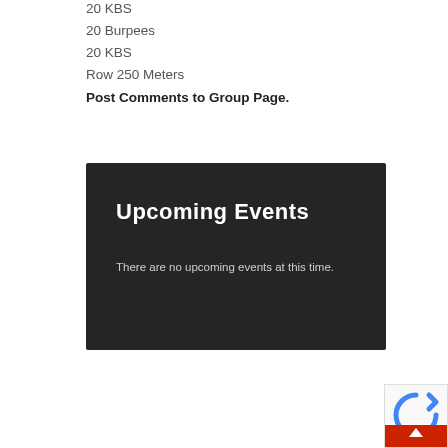20 KBS
20 Burpees
20 KBS
Row 250 Meters
Post Comments to Group Page.
[Figure (other): Dark box widget showing 'Upcoming Events' with text 'There are no upcoming events at this time.']
[Figure (other): reCAPTCHA widget in bottom right corner with red scroll-to-top button]